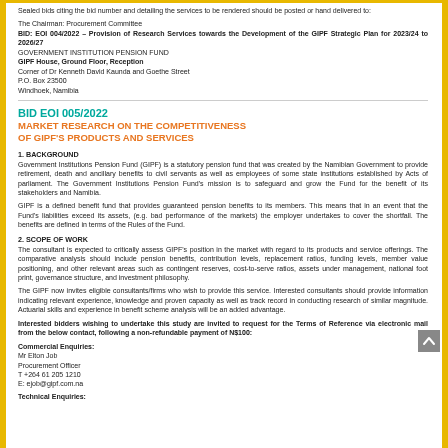Sealed bids citing the bid number and detailing the services to be rendered should be posted or hand delivered to:
The Chairman: Procurement Committee
BID: EOI 004/2022 – Provision of Research Services towards the Development of the GIPF Strategic Plan for 2023/24 to 2026/27
GOVERNMENT INSTITUTION PENSION FUND
GIPF House, Ground Floor, Reception
Corner of Dr Kenneth David Kaunda and Goethe Street
P.O. Box 23500
Windhoek, Namibia
BID EOI 005/2022
MARKET RESEARCH ON THE COMPETITIVENESS OF GIPF'S PRODUCTS AND SERVICES
1. BACKGROUND
Government Institutions Pension Fund (GIPF) is a statutory pension fund that was created by the Namibian Government to provide retirement, death and ancillary benefits to civil servants as well as employees of some state institutions established by Acts of parliament. The Government Institutions Pension Fund's mission is to safeguard and grow the Fund for the benefit of its stakeholders and Namibia.
GIPF is a defined benefit fund that provides guaranteed pension benefits to its members. This means that in an event that the Fund's liabilities exceed its assets, (e.g. bad performance of the markets) the employer undertakes to cover the shortfall. The benefits are defined in terms of the Rules of the Fund.
2. SCOPE OF WORK
The consultant is expected to critically assess GIPF's position in the market with regard to its products and service offerings. The comparative analysis should include pension benefits, contribution levels, replacement ratios, funding levels, member value positioning, and other relevant areas such as contingent reserves, cost-to-serve ratios, assets under management, national foot print, governance structure, and investment philosophy.
The GIPF now invites eligible consultants/firms who wish to provide this service. Interested consultants should provide information indicating relevant experience, knowledge and proven capacity as well as track record in conducting research of similar magnitude. Actuarial skills and experience in benefit scheme analysis will be an added advantage.
Interested bidders wishing to undertake this study are invited to request for the Terms of Reference via electronic mail from the below contact, following a non-refundable payment of N$100:
Commercial Enquiries:
Mr Elton Job
Procurement Officer
T +264 61 205 1210
E: ejob@gipf.com.na
Technical Enquiries: